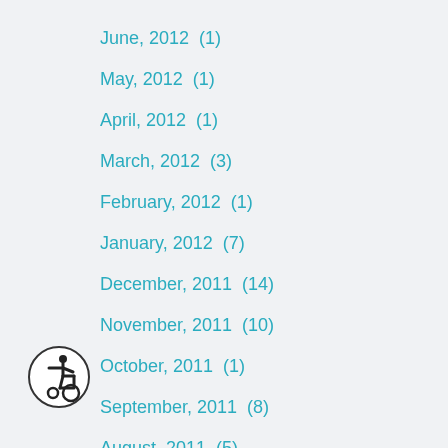June, 2012  (1)
May, 2012  (1)
April, 2012  (1)
March, 2012  (3)
February, 2012  (1)
January, 2012  (7)
December, 2011  (14)
November, 2011  (10)
October, 2011  (1)
September, 2011  (8)
August, 2011  (5)
July, 2011  (5)
June, 2011  (10)
May, 2011  (8)
April, 2011  (4)
[Figure (illustration): Accessibility wheelchair icon in a circle]